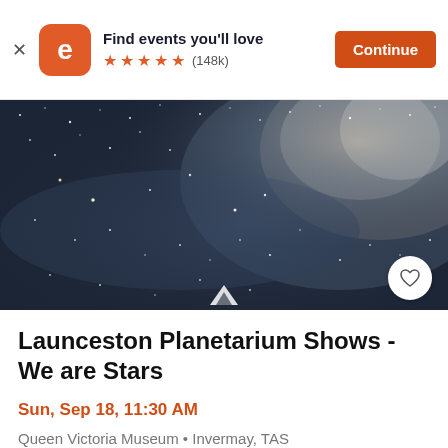Find events you'll love ★★★★★ (148k) Continue
[Figure (photo): A wide-angle photograph of the Milky Way galaxy against a dark night sky, filled with stars and a bright nebula region in the upper right. A small tent/navigation icon and a heart button are overlaid at the bottom of the image.]
Launceston Planetarium Shows - We are Stars
Sun, Sep 18, 11:30 AM
Queen Victoria Museum • Invermay, TAS
$0 - $24.30